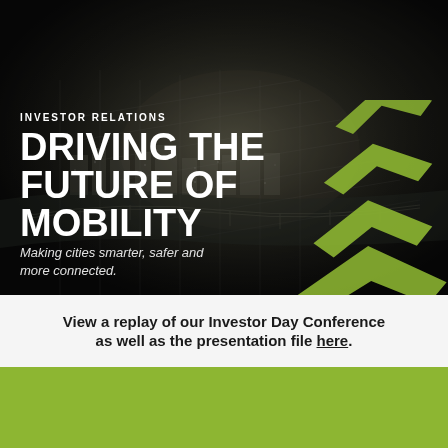[Figure (photo): Aerial night view of a city with bridges and waterways, black and white photography, with olive/green chevron arrow graphics overlaid on the right side]
INVESTOR RELATIONS
DRIVING THE FUTURE OF MOBILITY
Making cities smarter, safer and more connected.
View a replay of our Investor Day Conference as well as the presentation file here.
NASDAQ: VRRM Sep 2, 2022 4:00 PM EDT
| CURRENT SHARE PRICE | CHANGE | VOLUME |
| --- | --- | --- |